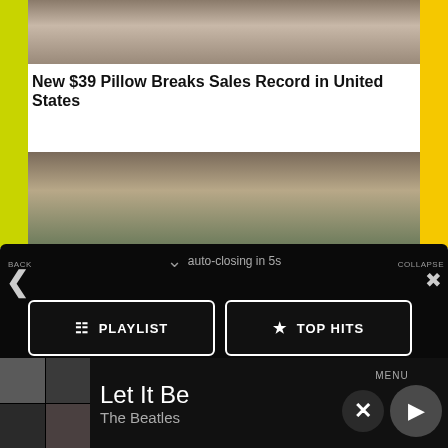[Figure (photo): Partial view of a white pillow/microphone product at top]
New $39 Pillow Breaks Sales Record in United States
[Figure (photo): Partial photo of a person wearing a white cap]
[Figure (screenshot): Dark mobile app menu overlay with buttons: PLAYLIST, TOP HITS, LISTEN LIVE, MY VOTES, CONTROLS. Auto-closing in 5s. BACK and COLLAPSE navigation. Data opt-out toggle. Ad banner. Now playing bar showing Let It Be by The Beatles.]
auto-closing in 5s
BACK
COLLAPSE
PLAYLIST
TOP HITS
LISTEN LIVE
MY VOTES
CONTROLS
Data opt-out
Let It Be
The Beatles
MENU